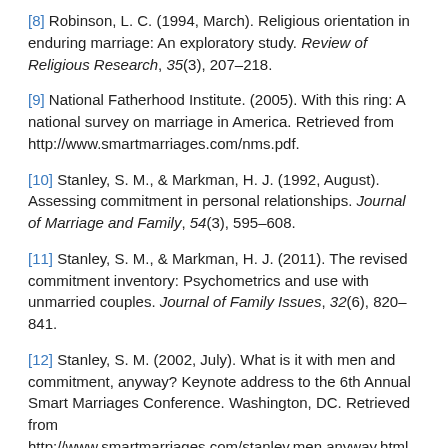[8] Robinson, L. C. (1994, March). Religious orientation in enduring marriage: An exploratory study. Review of Religious Research, 35(3), 207–218.
[9] National Fatherhood Institute. (2005). With this ring: A national survey on marriage in America. Retrieved from http://www.smartmarriages.com/nms.pdf.
[10] Stanley, S. M., & Markman, H. J. (1992, August). Assessing commitment in personal relationships. Journal of Marriage and Family, 54(3), 595–608.
[11] Stanley, S. M., & Markman, H. J. (2011). The revised commitment inventory: Psychometrics and use with unmarried couples. Journal of Family Issues, 32(6), 820–841.
[12] Stanley, S. M. (2002, July). What is it with men and commitment, anyway? Keynote address to the 6th Annual Smart Marriages Conference. Washington, DC. Retrieved from http://www.smartmarriages.com/stanley.men.anyway.html.
[13] Adams, J. M., & Jones, W. H. (1997). The conceptualization of marital commitment: An integrative analysis. Journal of Personality and Social Psychology, 72(5), 1177–1196.
[14] Johnson, M. P., Caughlin, J. P., & Huston, T. L. (1999,